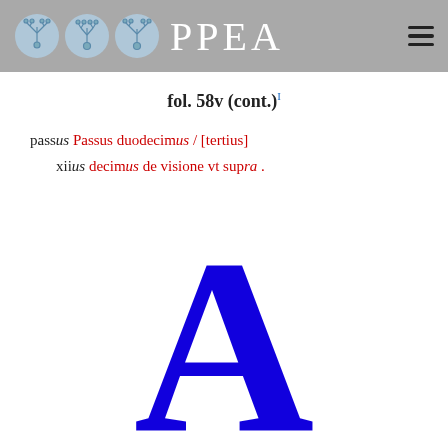PPEA
fol. 58v (cont.)
passus xiiius Passus duodecimus / [tertius] decimus de visione vt supra .
[Figure (illustration): Large blue capital letter A in serif font, cropped at bottom of page]